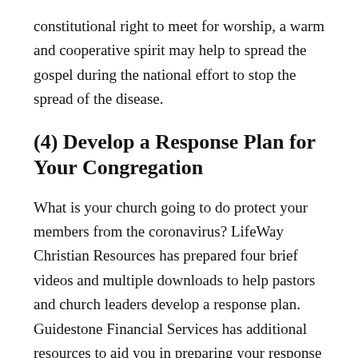constitutional right to meet for worship, a warm and cooperative spirit may help to spread the gospel during the national effort to stop the spread of the disease.
(4) Develop a Response Plan for Your Congregation
What is your church going to do protect your members from the coronavirus? LifeWay Christian Resources has prepared four brief videos and multiple downloads to help pastors and church leaders develop a response plan. Guidestone Financial Services has additional resources to aid you in preparing your response plan.
Lifeway's Ministry Grid: How to Prepare for the